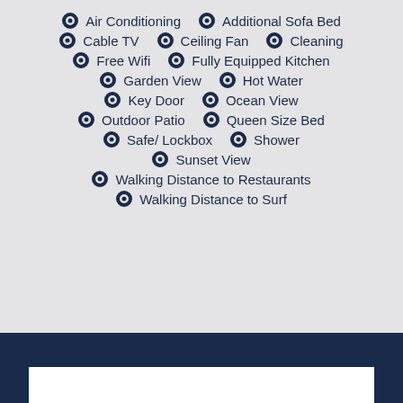Air Conditioning
Additional Sofa Bed
Cable TV
Ceiling Fan
Cleaning
Free Wifi
Fully Equipped Kitchen
Garden View
Hot Water
Key Door
Ocean View
Outdoor Patio
Queen Size Bed
Safe/ Lockbox
Shower
Sunset View
Walking Distance to Restaurants
Walking Distance to Surf